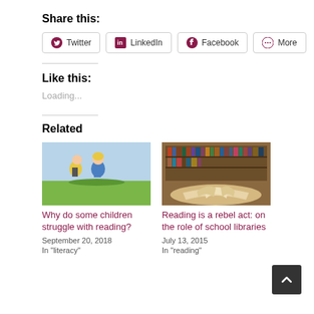Share this:
Twitter  LinkedIn  Facebook  More
Like this:
Loading...
Related
[Figure (illustration): Two children running outdoors, children's book illustration style]
Why do some children struggle with reading?
September 20, 2018
In "literacy"
[Figure (photo): Stack of open books in a library with shelves in the background]
Reading is a rebel act: on the role of school libraries
July 13, 2015
In "reading"